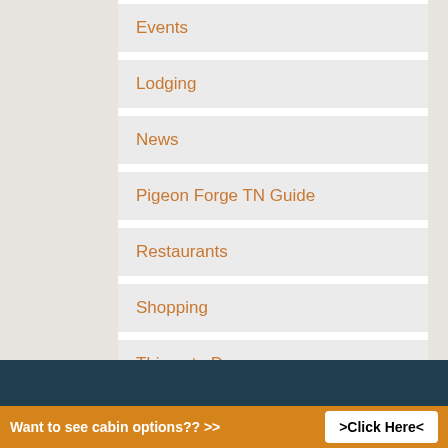Events
Lodging
News
Pigeon Forge TN Guide
Restaurants
Shopping
Things to Do
Want to see cabin options?? >>
>Click Here<